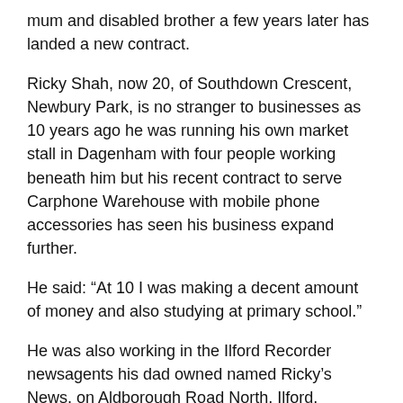mum and disabled brother a few years later has landed a new contract.
Ricky Shah, now 20, of Southdown Crescent, Newbury Park, is no stranger to businesses as 10 years ago he was running his own market stall in Dagenham with four people working beneath him but his recent contract to serve Carphone Warehouse with mobile phone accessories has seen his business expand further.
He said: “At 10 I was making a decent amount of money and also studying at primary school.”
He was also working in the Ilford Recorder newsagents his dad owned named Ricky’s News, on Aldborough Road North, Ilford.
Two years later he took a big risk “borrowing” £500 to